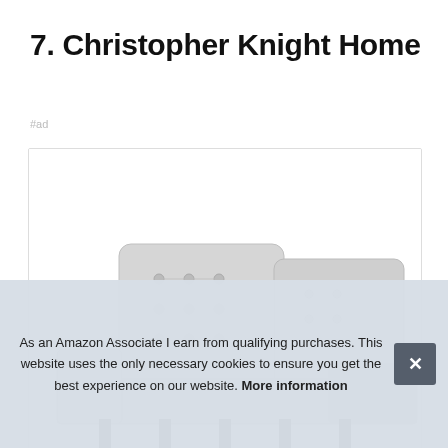7. Christopher Knight Home
#ad
[Figure (photo): Product image of Christopher Knight Home furniture — two light grey tufted sofa chairs/loveseat with black legs, partially visible, cropped at bottom.]
As an Amazon Associate I earn from qualifying purchases. This website uses the only necessary cookies to ensure you get the best experience on our website. More information